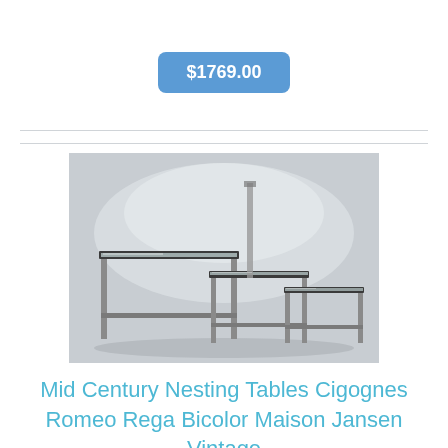$1769.00
[Figure (photo): Product photo of mid century nesting tables with glass tops and chrome/metal frames, three tables nested together, photographed against a light grey background.]
Mid Century Nesting Tables Cigognes Romeo Rega Bicolor Maison Jansen Vintage